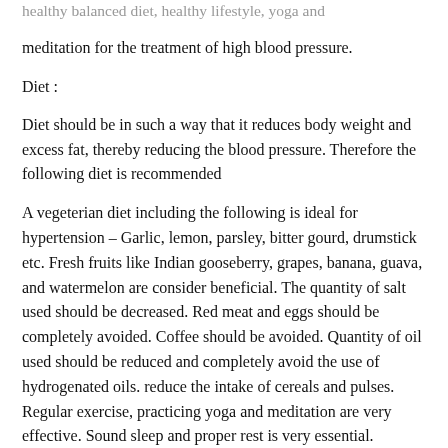healthy balanced diet, healthy lifestyle, yoga and
meditation for the treatment of high blood pressure.
Diet :
Diet should be in such a way that it reduces body weight and excess fat, thereby reducing the blood pressure. Therefore the following diet is recommended
A vegeterian diet including the following is ideal for hypertension – Garlic, lemon, parsley, bitter gourd, drumstick etc. Fresh fruits like Indian gooseberry, grapes, banana, guava, and watermelon are consider beneficial. The quantity of salt used should be decreased. Red meat and eggs should be completely avoided. Coffee should be avoided. Quantity of oil used should be reduced and completely avoid the use of hydrogenated oils. reduce the intake of cereals and pulses. Regular exercise, practicing yoga and meditation are very effective. Sound sleep and proper rest is very essential. Avoid constipation, maintain blood and living a clean